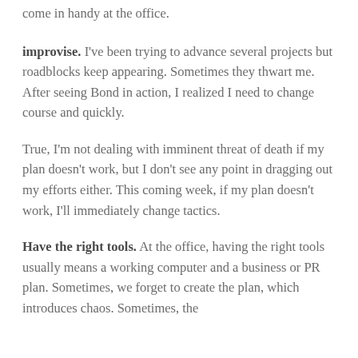come in handy at the office.
improvise. I've been trying to advance several projects but roadblocks keep appearing. Sometimes they thwart me. After seeing Bond in action, I realized I need to change course and quickly.
True, I'm not dealing with imminent threat of death if my plan doesn't work, but I don't see any point in dragging out my efforts either. This coming week, if my plan doesn't work, I'll immediately change tactics.
Have the right tools. At the office, having the right tools usually means a working computer and a business or PR plan. Sometimes, we forget to create the plan, which introduces chaos. Sometimes, the